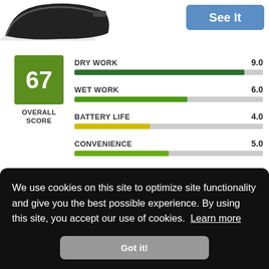[Figure (screenshot): Partial product image (dark object, likely a power tool or device) in top-left corner]
[Figure (other): Blue 'See It' button in top-right area]
[Figure (bar-chart): Overall Score 67]
We use cookies on this site to optimize site functionality and give you the best possible experience. By using this site, you accept our use of cookies.  Learn more
Got it!